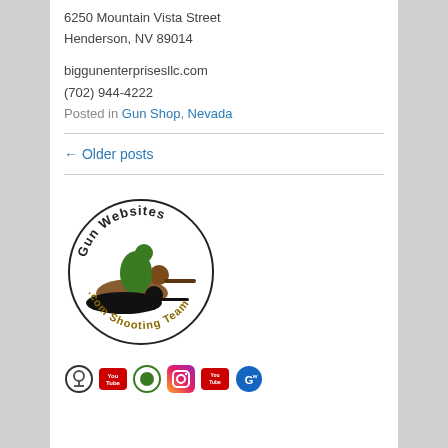6250 Mountain Vista Street
Henderson, NV 89014
biggunenterprisesllc.com
(702) 944-4222
Posted in Gun Shop, Nevada
← Older posts
[Figure (logo): Gun Websites .com Shooting Team circular logo with illustrated shooters in brown, green, and black silhouette]
[Figure (infographic): Row of 6 social media icons: podcast/microphone circle, YouTube rectangle, green circle, Instagram, YouTube, and Gun Websites globe icon]